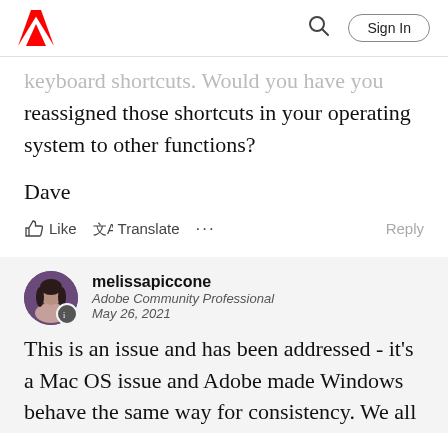Adobe | Sign In
...keyboard shortcuts. Would you have you reassigned those shortcuts in your operating system to other functions?
Dave
Like  Translate  ...  Reply
melissapiccone
Adobe Community Professional
May 26, 2021
This is an issue and has been addressed - it's a Mac OS issue and Adobe made Windows behave the same way for consistency. We all agree the new workflow sucks.